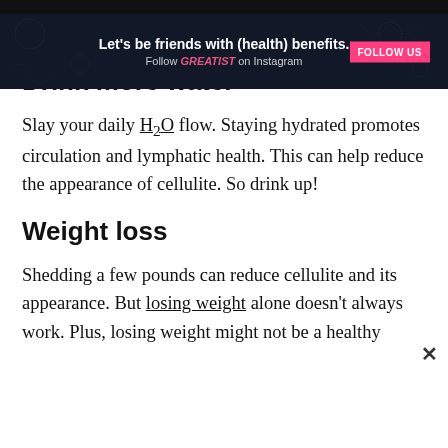GREATIST | SUBSCRIBE
Drink more water
Slay your daily H₂O flow. Staying hydrated promotes circulation and lymphatic health. This can help reduce the appearance of cellulite. So drink up!
Weight loss
Shedding a few pounds can reduce cellulite and its appearance. But losing weight alone doesn't always work. Plus, losing weight might not be a healthy
[Figure (screenshot): Advertisement banner: 'Let's be friends with (health) benefits. Follow GREATIST on Instagram' with pink FOLLOW US button on dark background]